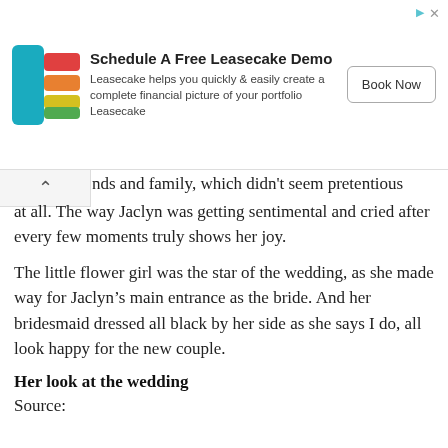[Figure (other): Leasecake advertisement banner with logo, text 'Schedule A Free Leasecake Demo', description, and 'Book Now' button]
nds and family, which didn't seem pretentious at all. The way Jaclyn was getting sentimental and cried after every few moments truly shows her joy.
The little flower girl was the star of the wedding, as she made way for Jaclyn’s main entrance as the bride. And her bridesmaid dressed all black by her side as she says I do, all look happy for the new couple.
Her look at the wedding
Source: